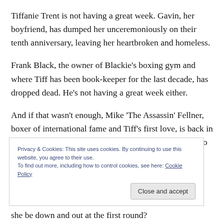Tiffanie Trent is not having a great week. Gavin, her boyfriend, has dumped her unceremoniously on their tenth anniversary, leaving her heartbroken and homeless.
Frank Black, the owner of Blackie's boxing gym and where Tiff has been book-keeper for the last decade, has dropped dead. He's not having a great week either.
And if that wasn't enough, Mike 'The Assassin' Fellner, boxer of international fame and Tiff's first love, is back in town and more gorgeous than ever. Tiff can't seem to go
Privacy & Cookies: This site uses cookies. By continuing to use this website, you agree to their use.
To find out more, including how to control cookies, see here: Cookie Policy
she be down and out at the first round?